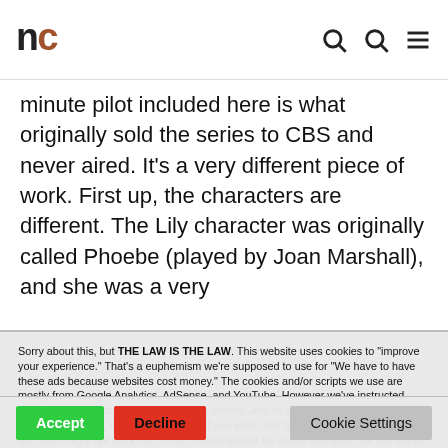nc
minute pilot included here is what originally sold the series to CBS and never aired. It's a very different piece of work. First up, the characters are different. The Lily character was originally called Phoebe (played by Joan Marshall), and she was a very
Sorry about this, but THE LAW IS THE LAW. This website uses cookies to "improve your experience." That's a euphemism we're supposed to use for "We have to have these ads because websites cost money." The cookies and/or scripts we use are mostly from Google Analytics, AdSense, and YouTube. However we've instructed Google to anonymize any data that they collect. Just so you know. We'll assume you're ok with this, but you can opt-out if you wish. Just bear in mind, certain embeds and such might not work.<br /> <br /> Also, please be aware that when we link out to products, we may earn a commission for doing so. Because we're certainly not doing it for our health. See our privacy policy & terms of use for more info than you would ever want to know. - Privacy Policy & Terms of Use